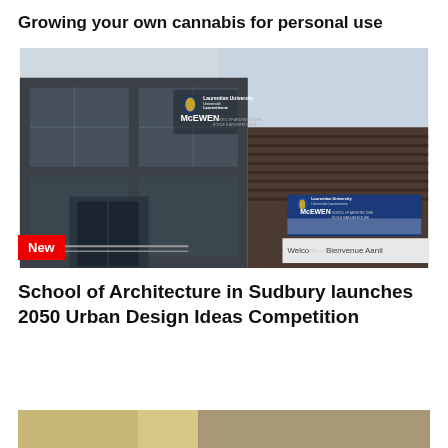Growing your own cannabis for personal use
[Figure (photo): Exterior of the McEWEN School of Architecture at Laurentian University in Sudbury, showing the glass facade with university signage and a welcome banner.]
School of Architecture in Sudbury launches 2050 Urban Design Ideas Competition
[Figure (photo): Partial view of another news article image at the bottom of the page.]